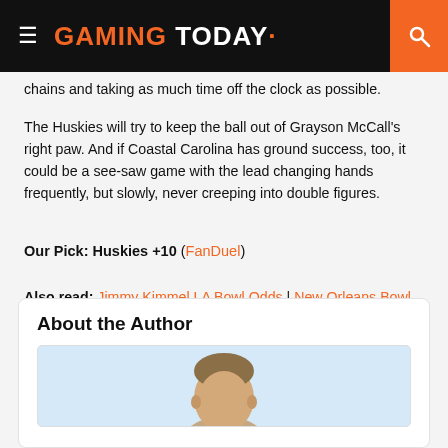GAMING TODAY
chains and taking as much time off the clock as possible.
The Huskies will try to keep the ball out of Grayson McCall's right paw. And if Coastal Carolina has ground success, too, it could be a see-saw game with the lead changing hands frequently, but slowly, never creeping into double figures.
Our Pick: Huskies +10 (FanDuel)
Also read: Jimmy Kimmel LA Bowl Odds | New Orleans Bowl Odds: Ragin’ Cajuns Laying Points
About the Author
[Figure (photo): Headshot photo of the author, partial view showing face and shoulders]